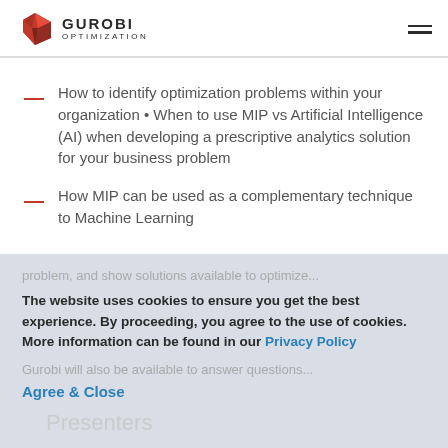GUROBI OPTIMIZATION
How to identify optimization problems within your organization • When to use MIP vs Artificial Intelligence (AI) when developing a prescriptive analytics solution for your business problem
How MIP can be used as a complementary technique to Machine Learning
The website uses cookies to ensure you get the best experience. By proceeding, you agree to the use of cookies. More information can be found in our Privacy Policy
Agree & Close
Presenters